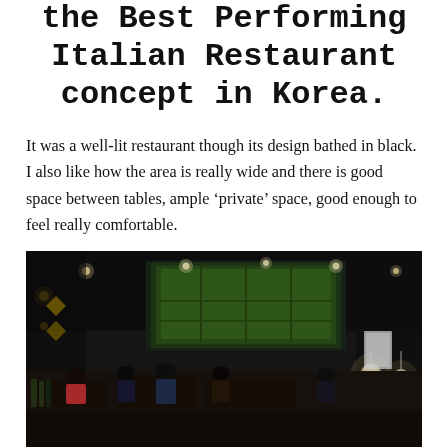the Best Performing Italian Restaurant concept in Korea.
It was a well-lit restaurant though its design bathed in black. I also like how the area is really wide and there is good space between tables, ample ‘private’ space, good enough to feel really comfortable.
[Figure (photo): Interior of a dimly lit Italian restaurant with dark decor, green-lit display shelves in the background, pendant lights, and diners seated at tables.]